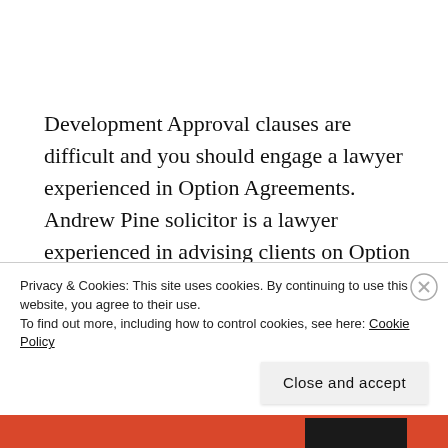Development Approval clauses are difficult and you should engage a lawyer experienced in Option Agreements. Andrew Pine solicitor is a lawyer experienced in advising clients on Option Agreements and Development Approval clauses. Andrew Pine lawyer can be contacted on the details found below.
Privacy & Cookies: This site uses cookies. By continuing to use this website, you agree to their use.
To find out more, including how to control cookies, see here: Cookie Policy
Close and accept